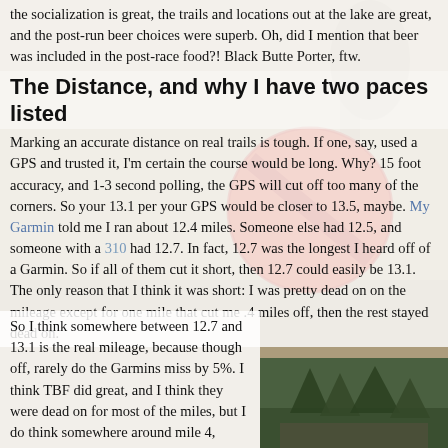the socialization is great, the trails and locations out at the lake are great, and the post-run beer choices were superb. Oh, did I mention that beer was included in the post-race food?! Black Butte Porter, ftw.
The Distance, and why I have two paces listed
Marking an accurate distance on real trails is tough. If one, say, used a GPS and trusted it, I'm certain the course would be long. Why? 15 foot accuracy, and 1-3 second polling, the GPS will cut off too many of the corners. So your 13.1 per your GPS would be closer to 13.5, maybe. My Garmin told me I ran about 12.4 miles. Someone else had 12.5, and someone with a 310 had 12.7. In fact, 12.7 was the longest I heard off of a Garmin. So if all of them cut it short, then 12.7 could easily be 13.1. The only reason that I think it was short: I was pretty dead on on the mileage except for one mile that cut me .4 miles off, then the rest stayed dead on.
So I think somewhere between 12.7 and 13.1 is the real mileage, because though off, rarely do the Garmins miss by 5%. I think TBF did great, and I think they were dead on for most of the miles, but I do think somewhere around mile 4,
[Figure (photo): Photo of trees/outdoor scene in bottom right corner]